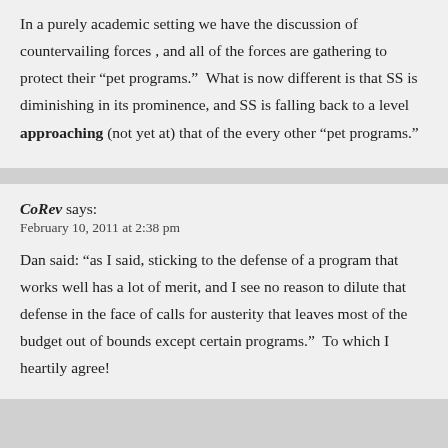In a purely academic setting we have the discussion of countervailing forces , and all of the forces are gathering to protect their “pet programs.”  What is now different is that SS is diminishing in its prominence, and SS is falling back to a level approaching (not yet at) that of the every other “pet programs.”
CoRev says:
February 10, 2011 at 2:38 pm
Dan said: “as I said, sticking to the defense of a program that works well has a lot of merit, and I see no reason to dilute that defense in the face of calls for austerity that leaves most of the budget out of bounds except certain programs.”  To which I heartily agree!